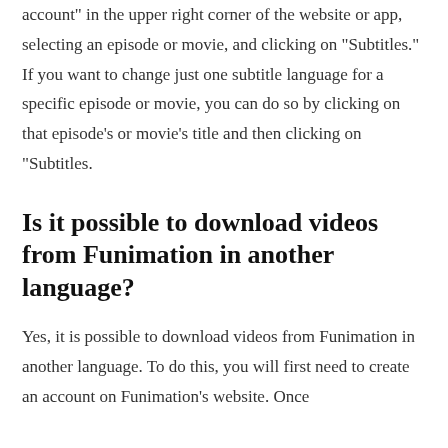account" in the upper right corner of the website or app, selecting an episode or movie, and clicking on "Subtitles." If you want to change just one subtitle language for a specific episode or movie, you can do so by clicking on that episode's or movie's title and then clicking on "Subtitles.
Is it possible to download videos from Funimation in another language?
Yes, it is possible to download videos from Funimation in another language. To do this, you will first need to create an account on Funimation's website. Once